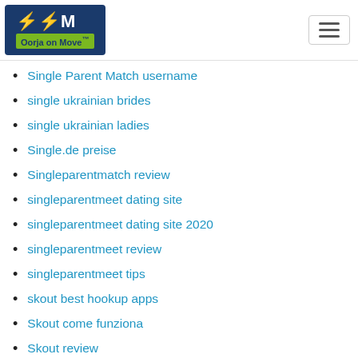Oorja on Move
Single Parent Match username
single ukrainian brides
single ukrainian ladies
Single.de preise
Singleparentmatch review
singleparentmeet dating site
singleparentmeet dating site 2020
singleparentmeet review
singleparentmeet tips
skout best hookup apps
Skout come funziona
Skout review
Skout reviews
slot 777
Slot Gacor
slots